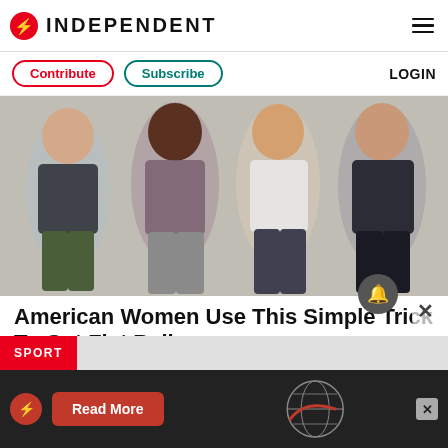INDEPENDENT
Contribute | Subscribe | LOGIN
[Figure (photo): Four smiling women in athletic/sports bra tops posing together against a grey background]
American Women Use This Simple Trick To Get Flat Belly
GUNDRY MD | TOTAL RESTORE | Sponsored
SPORT
Read More